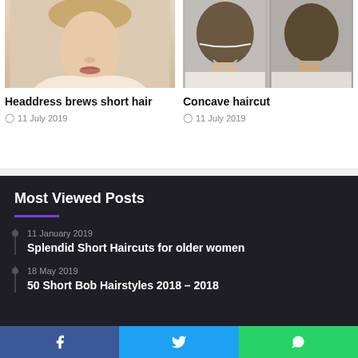[Figure (photo): Woman's face from front, blonde hair up, light background]
Headdress brews short hair
11 July 2019
[Figure (photo): Two back-of-head views showing concave haircut style]
Concave haircut
11 July 2019
Most Viewed Posts
11 January 2019
Splendid Short Haircuts for older women
18 May 2019
50 Short Bob Hairstyles 2018 – 2018
Facebook  Twitter  WhatsApp